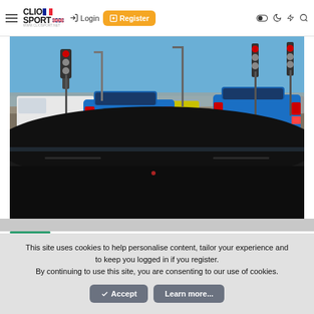ClioSport — Login | Register
[Figure (photo): Photograph taken from inside a car looking forward through the windscreen. Two blue Renault Clio Sport hatchbacks with yellow UK number plates are visible at a traffic light junction on a wide road. A white van is on the left. Traffic lights, street lights, and other vehicles are visible in the background under a clear blue sky. The lower portion shows the dark interior dashboard of the photographer's car.]
This site uses cookies to help personalise content, tailor your experience and to keep you logged in if you register.
By continuing to use this site, you are consenting to our use of cookies.
✓ Accept    Learn more...